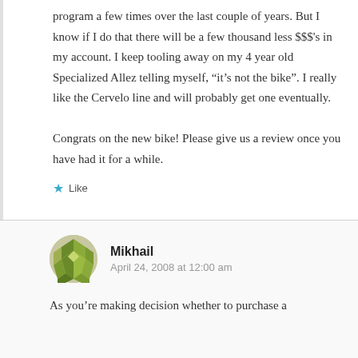program a few times over the last couple of years. But I know if I do that there will be a few thousand less $$$'s in my account. I keep tooling away on my 4 year old Specialized Allez telling myself, “it’s not the bike”. I really like the Cervelo line and will probably get one eventually.
Congrats on the new bike! Please give us a review once you have had it for a while.
Like
Mikhail
April 24, 2008 at 12:00 am
As you’re making decision whether to purchase a